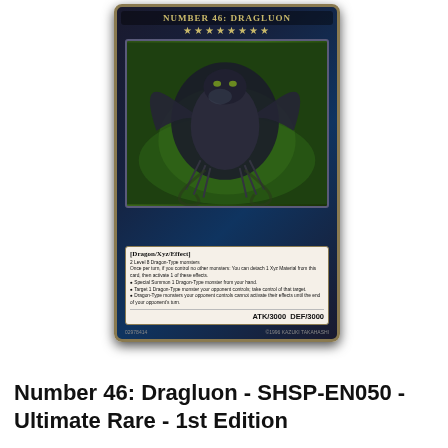[Figure (photo): Yu-Gi-Oh! trading card: Number 46: Dragluon - SHSP-EN050, Ultimate Rare, 1st Edition. Dark card with dragon artwork, showing a large dark dragon on green background. Card text shows Dragon/Xyz/Effect type with ATK/3000 DEF/3000.]
Number 46: Dragluon - SHSP-EN050 - Ultimate Rare - 1st Edition